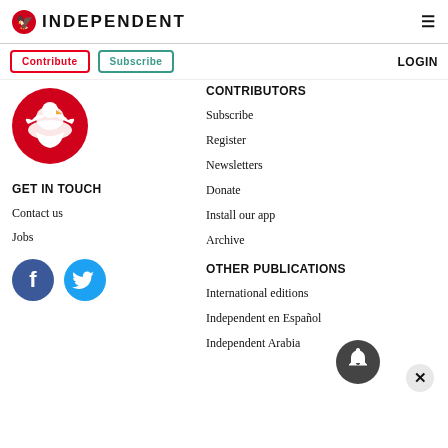INDEPENDENT
Contribute
Subscribe
LOGIN
[Figure (logo): The Independent eagle logo in red circle]
GET IN TOUCH
Contact us
Jobs
[Figure (illustration): Facebook and Twitter social media icons]
CONTRIBUTORS
Subscribe
Register
Newsletters
Donate
Install our app
Archive
OTHER PUBLICATIONS
International editions
Independent en Español
Independent Arabia